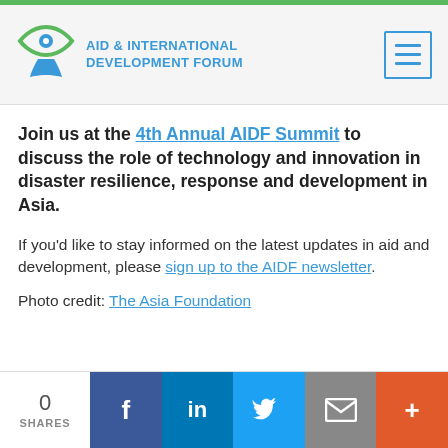Aid & International Development Forum
Join us at the 4th Annual AIDF Summit to discuss the role of technology and innovation in disaster resilience, response and development in Asia.
If you'd like to stay informed on the latest updates in aid and development, please sign up to the AIDF newsletter.
Photo credit: The Asia Foundation
0 SHARES | Facebook | LinkedIn | Twitter | Email | More